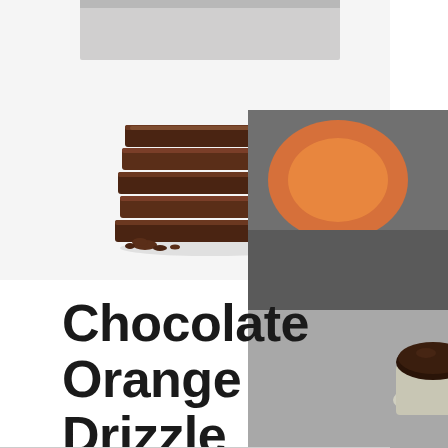[Figure (photo): Stack of chocolate brownie bars on a white surface, with crumbs, photographed from slightly above]
[Figure (photo): Chocolate cupcake in a paper liner on a grey surface, with an orange blurred in the background]
Chocolate Orange Drizzle Cupcakes